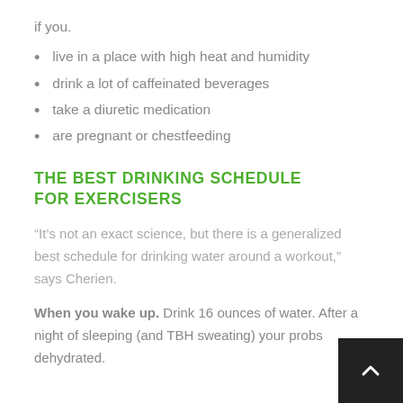if you.
live in a place with high heat and humidity
drink a lot of caffeinated beverages
take a diuretic medication
are pregnant or chestfeeding
THE BEST DRINKING SCHEDULE FOR EXERCISERS
“It’s not an exact science, but there is a generalized best schedule for drinking water around a workout,” says Cherien.
When you wake up. Drink 16 ounces of water. After a night of sleeping (and TBH sweating) your probs dehydrated.